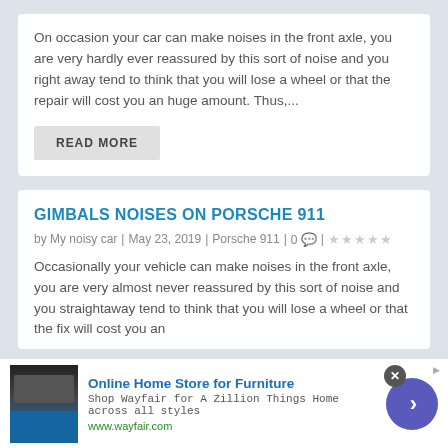On occasion your car can make noises in the front axle, you are very hardly ever reassured by this sort of noise and you right away tend to think that you will lose a wheel or that the repair will cost you an huge amount. Thus,...
READ MORE
GIMBALS NOISES ON PORSCHE 911
by My noisy car | May 23, 2019 | Porsche 911 | 0 | ★★★★★
Occasionally your vehicle can make noises in the front axle, you are very almost never reassured by this sort of noise and you straightaway tend to think that you will lose a wheel or that the fix will cost you an
Online Home Store for Furniture
Shop Wayfair for A Zillion Things Home across all styles
www.wayfair.com